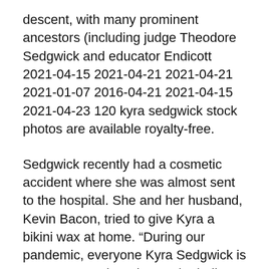descent, with many prominent ancestors (including judge Theodore Sedgwick and educator Endicott 2021-04-15 2021-04-21 2021-04-21 2021-01-07 2016-04-21 2021-04-15 2021-04-23 120 kyra sedgwick stock photos are available royalty-free.
Sedgwick recently had a cosmetic accident where she was almost sent to the hospital. She and her husband, Kevin Bacon, tried to give Kyra a bikini wax at home. “During our pandemic, everyone Kyra Sedgwick is an actress and producer who hails from America. She gained a lot of popularity and fame for her role as ‘Brenda Leigh Johnson’ on the TNT’s crime drama named The Closer and as ‘Madeline Wuntch’ on the successful sitcom named Brooklyn Nine-Nine. Moreover, she has earned a Golden Globe Award and an Emmy Award. Having enjoyed